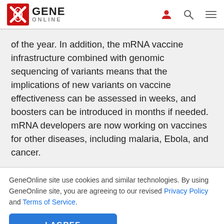GENE ONLINE
of the year. In addition, the mRNA vaccine infrastructure combined with genomic sequencing of variants means that the implications of new variants on vaccine effectiveness can be assessed in weeks, and boosters can be introduced in months if needed. mRNA developers are now working on vaccines for other diseases, including malaria, Ebola, and cancer.
GeneOnline site use cookies and similar technologies. By using GeneOnline site, you are agreeing to our revised Privacy Policy and Terms of Service.
I AGREE